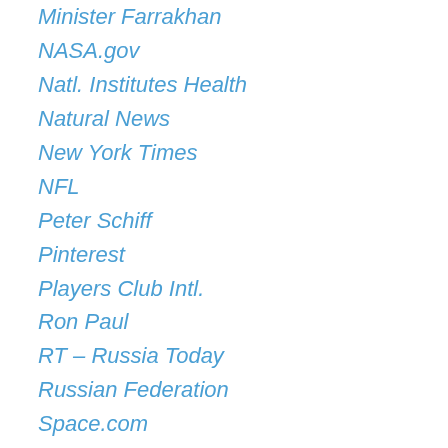Minister Farrakhan
NASA.gov
Natl. Institutes Health
Natural News
New York Times
NFL
Peter Schiff
Pinterest
Players Club Intl.
Ron Paul
RT – Russia Today
Russian Federation
Space.com
Sports Illustrated
Time Magazine
Time.gov
Tom Leykis
Tony Robbins
Trilateral Commission
Twitter login